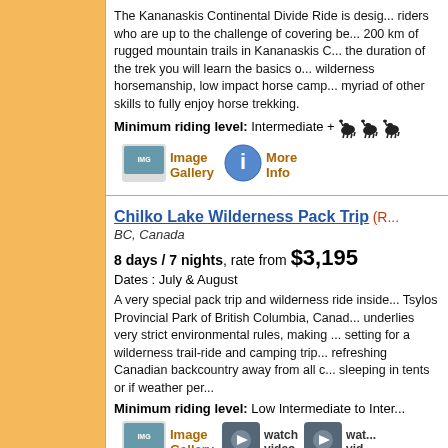The Kananaskis Continental Divide Ride is designed for riders who are up to the challenge of covering between 200 km of rugged mountain trails in Kananaskis Country. During the duration of the trek you will learn the basics of wilderness horsemanship, low impact horse camping and a myriad of other skills to fully enjoy horse trekking.
Minimum riding level: Intermediate +
[Figure (screenshot): Image Gallery button]
[Figure (screenshot): More Info button]
Chilko Lake Wilderness Pack Trip (R...)
BC, Canada
8 days / 7 nights, rate from $3,195
Dates : July & August
A very special pack trip and wilderness ride inside the Tsylos Provincial Park of British Columbia, Canada, which underlies very strict environmental rules, making it a perfect setting for a wilderness trail-ride and camping trip in a refreshing Canadian backcountry away from all c... sleeping in tents or if weather per...
Minimum riding level: Low Intermediate to Inter...
[Figure (screenshot): Image Gallery button]
[Figure (screenshot): watch video button 1]
[Figure (screenshot): watch video button 2]
South Chilcotin Getaway (RTBC05-3)
BC, Canada